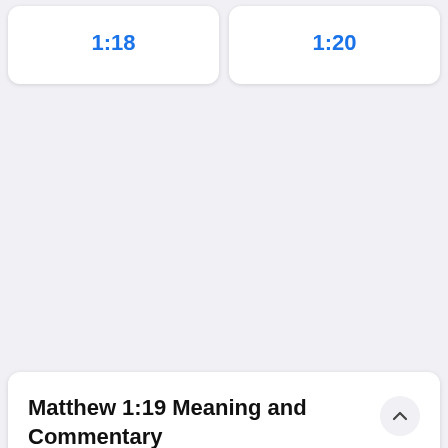1:18
1:20
Matthew 1:19 Meaning and Commentary
Matthew 1:19